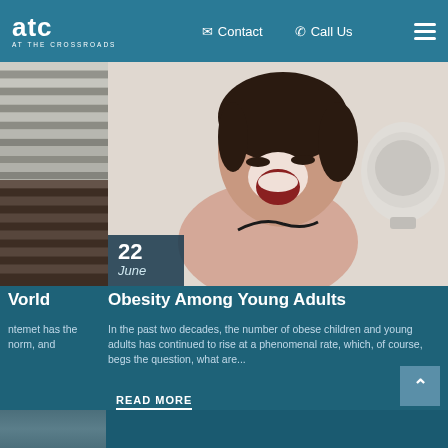ATC AT THE CROSSROADS | Contact | Call Us
[Figure (photo): Website screenshot showing a navigation header with ATC (At the Crossroads) logo, Contact and Call Us links, and a hamburger menu. Below is a blog post image of a woman screaming at a bathroom scale, with a date overlay showing 22 June. The main content shows article titles and preview text about Obesity Among Young Adults.]
Obesity Among Young Adults
In the past two decades, the number of obese children and young adults has continued to rise at a phenomenal rate, which, of course, begs the question, what are...
READ MORE